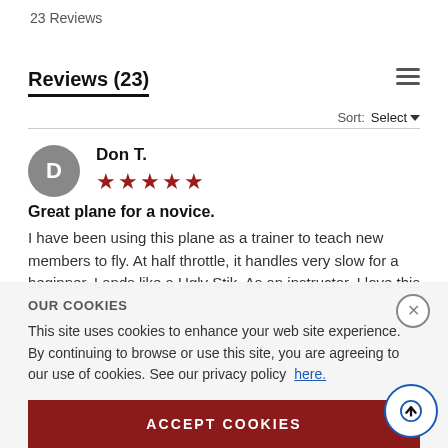23 Reviews
Reviews (23)
Sort: Select
Don T. ★★★★★
Great plane for a novice.
I have been using this plane as a trainer to teach new members to fly. At half throttle, it handles very slow for a beginner. Lands like a Ugly Stik. As an instructor, I love this plane.
OUR COOKIES
This site uses cookies to enhance your web site experience. By continuing to browse or use this site, you are agreeing to our use of cookies. See our privacy policy here.
ACCEPT COOKIES